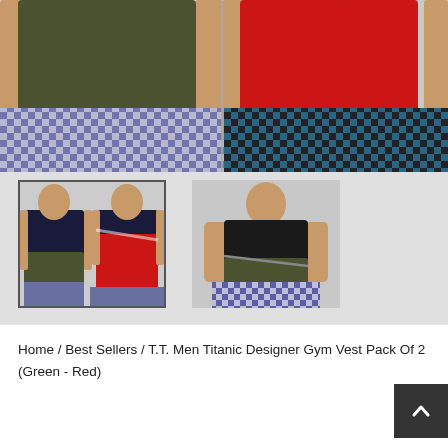[Figure (photo): Main product image showing two men wearing T.T. Men Titanic Designer Gym Vests. Left model wears olive/dark green vest with blue-white checkered shorts. Right model wears red vest with dark teal checkered shorts.]
[Figure (photo): Thumbnail 1: Two male models side by side wearing navy/red designer gym vests with olive and patterned shorts.]
[Figure (photo): Thumbnail 2: Single male model wearing dark/olive designer gym vest with blue checkered shorts.]
Home / Best Sellers / T.T. Men Titanic Designer Gym Vest Pack Of 2 (Green - Red)